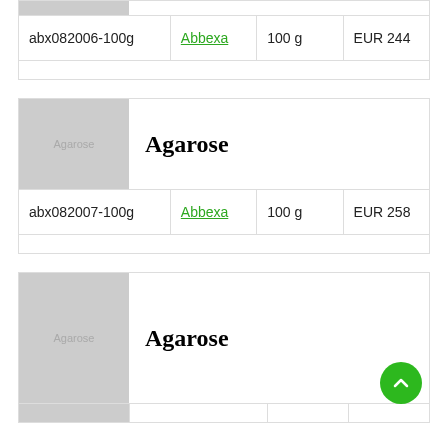| Catalog # | Supplier | Amount | Price |
| --- | --- | --- | --- |
| abx082006-100g | Abbexa | 100 g | EUR 244 |
Agarose
| Catalog # | Supplier | Amount | Price |
| --- | --- | --- | --- |
| abx082007-100g | Abbexa | 100 g | EUR 258 |
Agarose